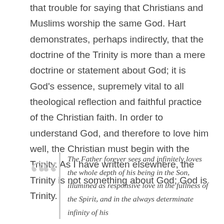that trouble for saying that Christians and Muslims worship the same God. Hart demonstrates, perhaps indirectly, that the doctrine of the Trinity is more than a mere doctrine or statement about God; it is God's essence, supremely vital to all theological reflection and faithful practice of the Christian faith. In order to understand God, and therefore to love him well, the Christian must begin with the Trinity. As I have written elsewhere, the Trinity is not something about God; God is Trinity.
The Father forever sees and infinitely loves the whole depth of his being in the Son, illumined as responsive love in the fullness of the Spirit, and in the always determinate infinity of his